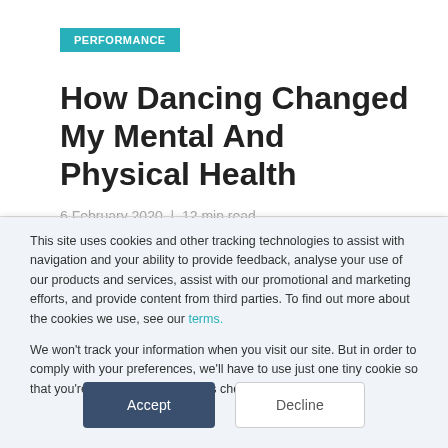PERFORMANCE
How Dancing Changed My Mental And Physical Health
6 February 2020  |  12 min read
This site uses cookies and other tracking technologies to assist with navigation and your ability to provide feedback, analyse your use of our products and services, assist with our promotional and marketing efforts, and provide content from third parties. To find out more about the cookies we use, see our terms.

We won't track your information when you visit our site. But in order to comply with your preferences, we'll have to use just one tiny cookie so that you're not asked to make this choice again.